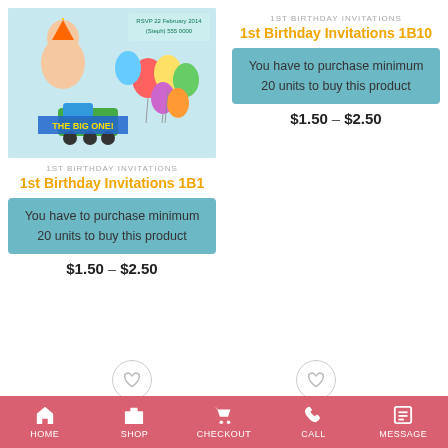[Figure (photo): 1st birthday invitation showing a baby with balloons, toy train, and text 'THE BIG ONE!' and 'RSVP 22 February 2014 (Steph) 555 0000']
1ST BIRTHDAY INVITATIONS
1st Birthday Invitations 1B1
You have to purchase minimum 20 units to buy this product
$1.50 – $2.50
1ST BIRTHDAY INVITATIONS
1st Birthday Invitations 1B10
You have to purchase minimum 20 units to buy this product
$1.50 – $2.50
HOME  SHOP  CHECKOUT  CALL  MESSAGE